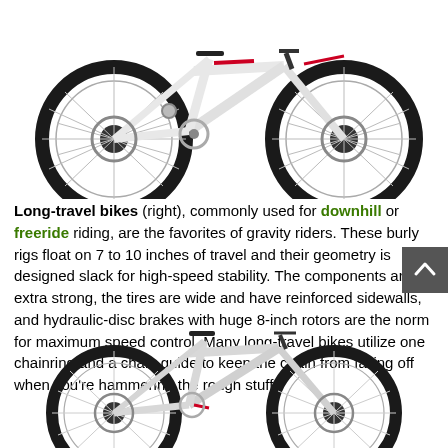[Figure (photo): Long-travel mountain bike, white with red and black accents, full suspension, disc brakes, knobby tires — shown from the right side against a white background.]
Long-travel bikes (right), commonly used for downhill or freeride riding, are the favorites of gravity riders. These burly rigs float on 7 to 10 inches of travel and their geometry is designed slack for high-speed stability. The components are extra strong, the tires are wide and have reinforced sidewalls, and hydraulic-disc brakes with huge 8-inch rotors are the norm for maximum speed control. Many long-travel bikes utilize one chainring and a chain guide to keep the chain from falling off when you're hammering the rough stuff.
[Figure (photo): White full-suspension mountain bike shown from the right side against a white background, with a scroll-up button in the lower-right corner.]